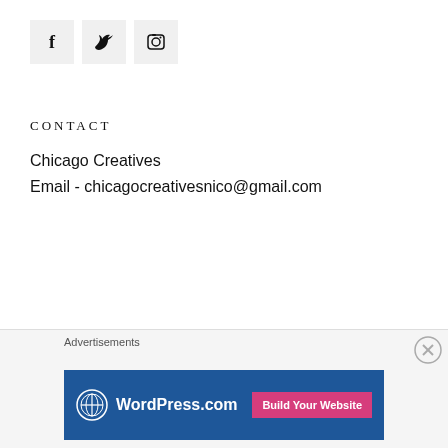[Figure (illustration): Three social media icon buttons: Facebook (f), Twitter (bird), Instagram (camera) — each in a light grey square box]
CONTACT
Chicago Creatives
Email - chicagocreativesnico@gmail.com
[Figure (illustration): Advertisement banner: WordPress.com logo on dark blue background with pink 'Build Your Website' button]
Advertisements